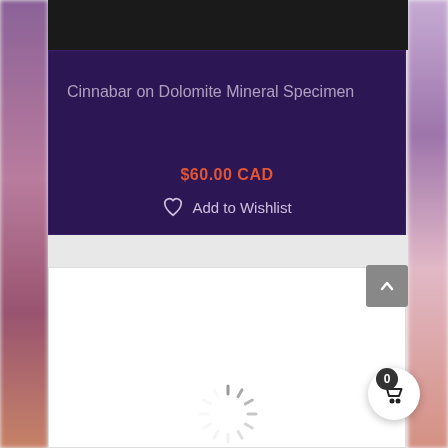Cinnabar on Dolomite Mineral Specimen
$60.00 CAD
Add to Wishlist
[Figure (screenshot): Loading spinner indicator in the white content card area]
[Figure (other): Back to top button (gray arrow up)]
[Figure (other): Shopping cart button with badge showing 0]